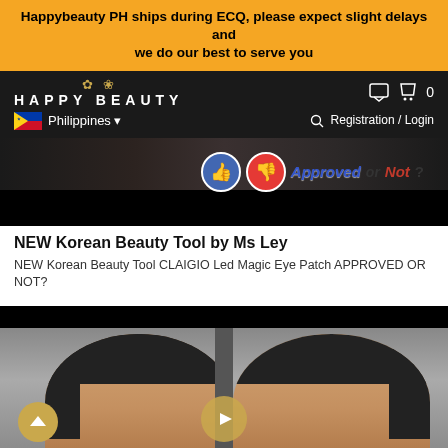Happybeauty PH ships during ECQ, please expect slight delays and we do our best to serve you
[Figure (logo): Happy Beauty logo with butterfly icon and navigation bar showing Philippines flag, Registration/Login link, chat and cart icons]
[Figure (screenshot): Video thumbnail showing Approved or Not? with thumbs up (blue) and thumbs down (red) icons]
NEW Korean Beauty Tool by Ms Ley
NEW Korean Beauty Tool CLAIGIO Led Magic Eye Patch APPROVED OR NOT?
[Figure (screenshot): Video thumbnail showing two Asian women faces side by side with a play button overlay, black top bar]